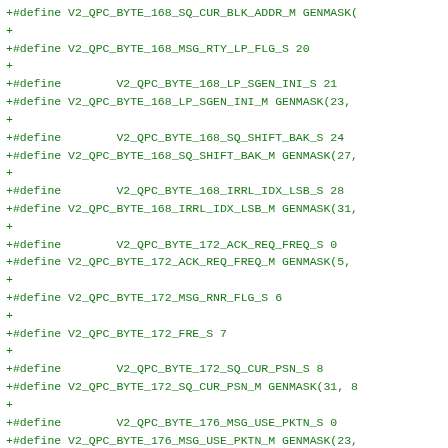+#define V2_QPC_BYTE_168_SQ_CUR_BLK_ADDR_M GENMASK(
+
+#define V2_QPC_BYTE_168_MSG_RTY_LP_FLG_S 20
+
+#define        V2_QPC_BYTE_168_LP_SGEN_INI_S 21
+#define V2_QPC_BYTE_168_LP_SGEN_INI_M GENMASK(23,
+
+#define        V2_QPC_BYTE_168_SQ_SHIFT_BAK_S 24
+#define V2_QPC_BYTE_168_SQ_SHIFT_BAK_M GENMASK(27,
+
+#define        V2_QPC_BYTE_168_IRRL_IDX_LSB_S 28
+#define V2_QPC_BYTE_168_IRRL_IDX_LSB_M GENMASK(31,
+
+#define        V2_QPC_BYTE_172_ACK_REQ_FREQ_S 0
+#define V2_QPC_BYTE_172_ACK_REQ_FREQ_M GENMASK(5,
+
+#define V2_QPC_BYTE_172_MSG_RNR_FLG_S 6
+
+#define V2_QPC_BYTE_172_FRE_S 7
+
+#define        V2_QPC_BYTE_172_SQ_CUR_PSN_S 8
+#define V2_QPC_BYTE_172_SQ_CUR_PSN_M GENMASK(31, 8
+
+#define        V2_QPC_BYTE_176_MSG_USE_PKTN_S 0
+#define V2_QPC_BYTE_176_MSG_USE_PKTN_M GENMASK(23,
+
+#define        V2_QPC_BYTE_176_IRRL_HEAD_PRE_S 24